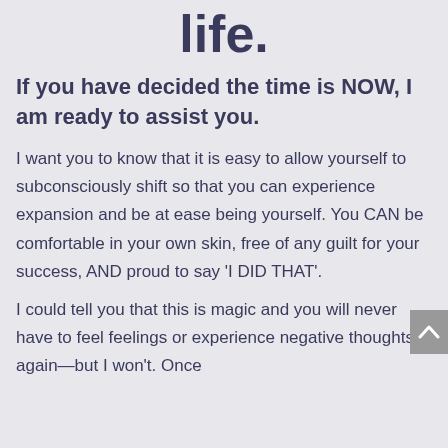life.
If you have decided the time is NOW, I am ready to assist you.
I want you to know that it is easy to allow yourself to subconsciously shift so that you can experience expansion and be at ease being yourself. You CAN be comfortable in your own skin, free of any guilt for your success, AND proud to say 'I DID THAT'.
I could tell you that this is magic and you will never have to feel feelings or experience negative thoughts again—but I won't. Once